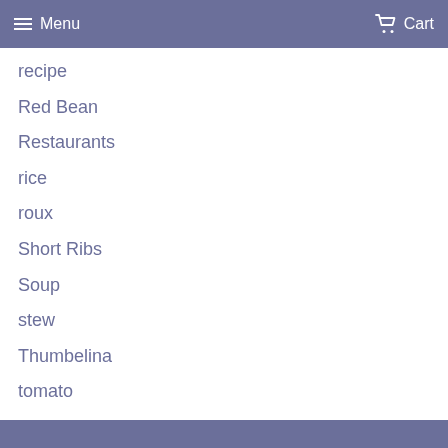Menu  Cart
recipe
Red Bean
Restaurants
rice
roux
Short Ribs
Soup
stew
Thumbelina
tomato